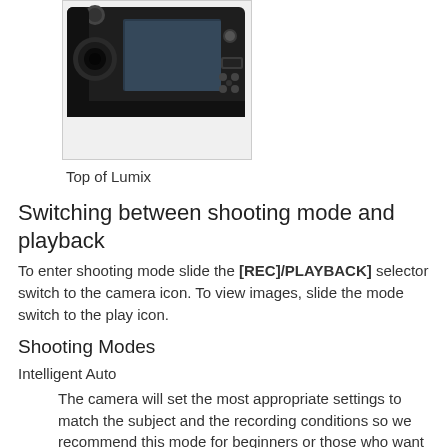[Figure (photo): Photo of the top/back of a Panasonic Lumix camera shown in a light gray bordered box]
Top of Lumix
Switching between shooting mode and playback
To enter shooting mode slide the [REC]/PLAYBACK] selector switch to the camera icon. To view images, slide the mode switch to the play icon.
Shooting Modes
Intelligent Auto
The camera will set the most appropriate settings to match the subject and the recording conditions so we recommend this mode for beginners or those who want to leave the settings to the camera and take pictures easily.
The Following functions are activated